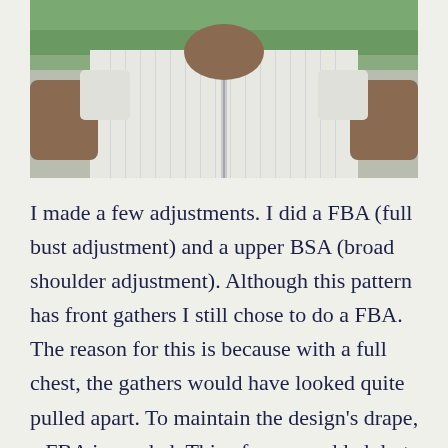[Figure (photo): Photo of a person wearing a white/light striped short-sleeve shirt, shown from the torso up, with green grass visible in the background.]
I made a few adjustments. I did a FBA (full bust adjustment) and a upper BSA (broad shoulder adjustment). Although this pattern has front gathers I still chose to do a FBA. The reason for this is because with a full chest, the gathers would have looked quite pulled apart. To maintain the design's drape, a FBA is needed. This of course added darts which I think helps shape the